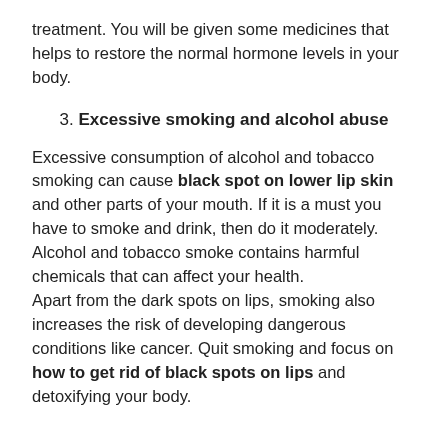treatment. You will be given some medicines that helps to restore the normal hormone levels in your body.
3. Excessive smoking and alcohol abuse
Excessive consumption of alcohol and tobacco smoking can cause black spot on lower lip skin and other parts of your mouth. If it is a must you have to smoke and drink, then do it moderately. Alcohol and tobacco smoke contains harmful chemicals that can affect your health. Apart from the dark spots on lips, smoking also increases the risk of developing dangerous conditions like cancer. Quit smoking and focus on how to get rid of black spots on lips and detoxifying your body.